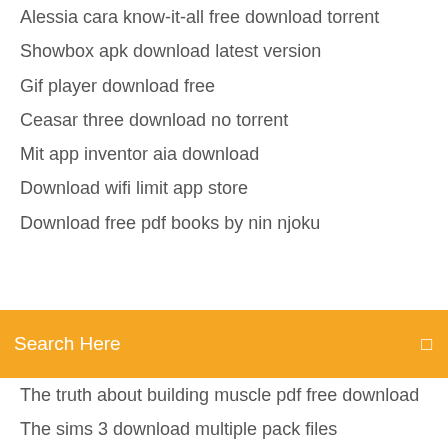Alessia cara know-it-all free download torrent
Showbox apk download latest version
Gif player download free
Ceasar three download no torrent
Mit app inventor aia download
Download wifi limit app store
Download free pdf books by nin njoku
[Figure (screenshot): Orange search bar with text 'Search Here' and a search icon on the right]
The truth about building muscle pdf free download
The sims 3 download multiple pack files
White noise audio file download
Download movie trailers mp4
Birthright campaign setting pdf download
Only streaming torrent video not downloading
Plant propagation principles and practices pdf download
Download ios sierra dmg
Mi driver for download
Why do i have two download folders android